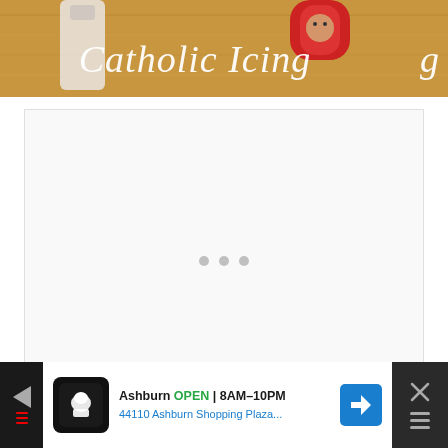[Figure (photo): Website header banner showing 'Catholic Icing' text in white cursive script overlaid on a wooden surface with small religious figurines/bottles. Partial view of the banner cropped at right edge.]
[Figure (screenshot): White content placeholder box with three grey dots (loading indicator) centered in the middle of the box.]
[Figure (screenshot): Advertisement banner at bottom of page. Black background bar on the left side with a small arrow icon. White section shows a restaurant/food delivery ad: chef/cook icon on dark background, text 'Ashburn OPEN 8AM-10PM' and '44110 Ashburn Shopping Plaza...' with a blue navigation arrow icon. Right side has a dark close/dismiss button with X and menu icon.]